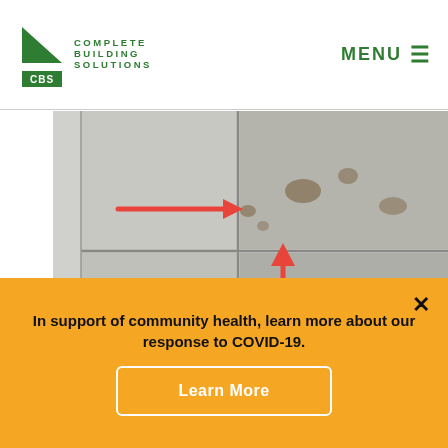[Figure (logo): Complete Building Solutions CBS logo with green triangle and text]
[Figure (photo): Photo of a wall with panels showing damage or water stains, with two red arrows pointing to areas of concern — one arrow pointing right and one arrow pointing up]
In support of community health, learn more about our response to COVID-19.
Learn More